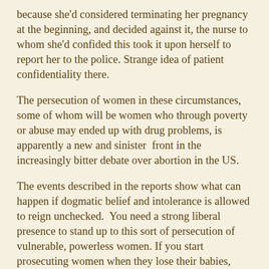because she'd considered terminating her pregnancy at the beginning, and decided against it, the nurse to whom she'd confided this took it upon herself to report her to the police. Strange idea of patient confidentiality there.
The persecution of women in these circumstances, some of whom will be women who through poverty or abuse may ended up with drug problems, is apparently a new and sinister  front in the increasingly bitter debate over abortion in the US.
The events described in the reports show what can happen if dogmatic belief and intolerance is allowed to reign unchecked.  You need a strong liberal presence to stand up to this sort of persecution of vulnerable, powerless women. If you start prosecuting women when they lose their babies, where will it stop? If they eat a bit of brie and get listeria? If they climb a ladder to do some decorating for the nursery and fall? If they choose to give birth at home? That would be the logical conclusion.
You might think that if people are worried about babies being